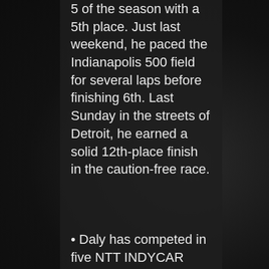5 of the season with a 5th place. Just last weekend, he paced the Indianapolis 500 field for several laps before finishing 6th. Last Sunday in the streets of Detroit, he earned a solid 12th-place finish in the caution-free race.
• Daly has competed in five NTT INDYCAR SERIES races at